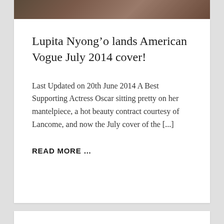[Figure (photo): Partial photo of Lupita Nyong'o at the top of the card, cropped, showing colorful clothing and partial text overlay]
Lupita Nyong’o lands American Vogue July 2014 cover!
Last Updated on 20th June 2014 A Best Supporting Actress Oscar sitting pretty on her mantelpiece, a hot beauty contract courtesy of Lancome, and now the July cover of the [...]
READ MORE …